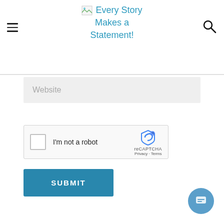[Figure (logo): Small broken image icon placeholder followed by site title 'Every Story Makes a Statement!' in blue]
Every Story Makes a Statement!
[Figure (other): Website input field with placeholder text 'Website' on grey background]
[Figure (other): reCAPTCHA widget with checkbox and 'I'm not a robot' text]
[Figure (other): SUBMIT button in blue]
[Figure (other): Chat bubble icon in bottom right corner]